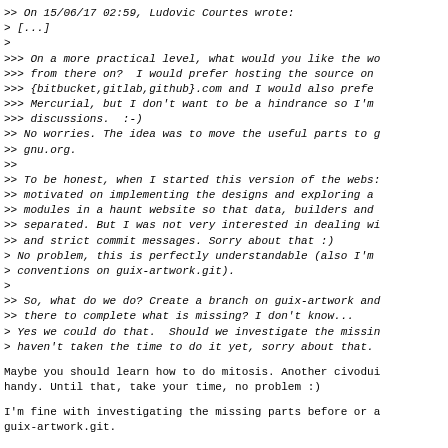>> On 15/06/17 02:59, Ludovic Courtes wrote:
> [...]
>
>>> On a more practical level, what would you like the wo
>>> from there on?  I would prefer hosting the source on
>>> {bitbucket,gitlab,github}.com and I would also prefe
>>> Mercurial, but I don't want to be a hindrance so I'm
>>> discussions.  :-)
>> No worries. The idea was to move the useful parts to g
>> gnu.org.
>>
>> To be honest, when I started this version of the webs:
>> motivated on implementing the designs and exploring a
>> modules in a haunt website so that data, builders and
>> separated. But I was not very interested in dealing wi
>> and strict commit messages. Sorry about that :)
> No problem, this is perfectly understandable (also I'm
> conventions on guix-artwork.git).
>
>> So, what do we do? Create a branch on guix-artwork and
>> there to complete what is missing? I don't know...
> Yes we could do that.  Should we investigate the missin
> haven't taken the time to do it yet, sorry about that.
Maybe you should learn how to do mitosis. Another civodui handy. Until that, take your time, no problem :)
I'm fine with investigating the missing parts before or a guix-artwork.git.